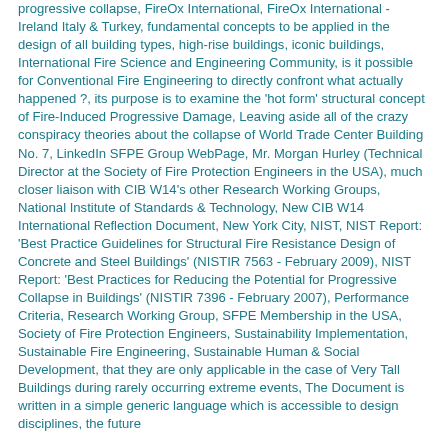progressive collapse, FireOx International, FireOx International - Ireland Italy & Turkey, fundamental concepts to be applied in the design of all building types, high-rise buildings, iconic buildings, International Fire Science and Engineering Community, is it possible for Conventional Fire Engineering to directly confront what actually happened ?, its purpose is to examine the 'hot form' structural concept of Fire-Induced Progressive Damage, Leaving aside all of the crazy conspiracy theories about the collapse of World Trade Center Building No. 7, LinkedIn SFPE Group WebPage, Mr. Morgan Hurley (Technical Director at the Society of Fire Protection Engineers in the USA), much closer liaison with CIB W14's other Research Working Groups, National Institute of Standards & Technology, New CIB W14 International Reflection Document, New York City, NIST, NIST Report: 'Best Practice Guidelines for Structural Fire Resistance Design of Concrete and Steel Buildings' (NISTIR 7563 - February 2009), NIST Report: 'Best Practices for Reducing the Potential for Progressive Collapse in Buildings' (NISTIR 7396 - February 2007), Performance Criteria, Research Working Group, SFPE Membership in the USA, Society of Fire Protection Engineers, Sustainability Implementation, Sustainable Fire Engineering, Sustainable Human & Social Development, that they are only applicable in the case of Very Tall Buildings during rarely occurring extreme events, The Document is written in a simple generic language which is accessible to design disciplines, the future